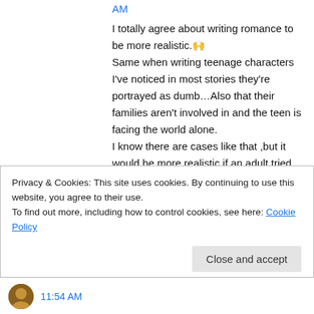AM
I totally agree about writing romance to be more realistic.🙌
Same when writing teenage characters I've noticed in most stories they're portrayed as dumb…Also that their families aren't involved in and the teen is facing the world alone.
I know there are cases like that ,but it would be more realistic if an adult tried to intervene more in such stories. Hope this made sense.
Privacy & Cookies: This site uses cookies. By continuing to use this website, you agree to their use.
To find out more, including how to control cookies, see here: Cookie Policy
Close and accept
11:54 AM